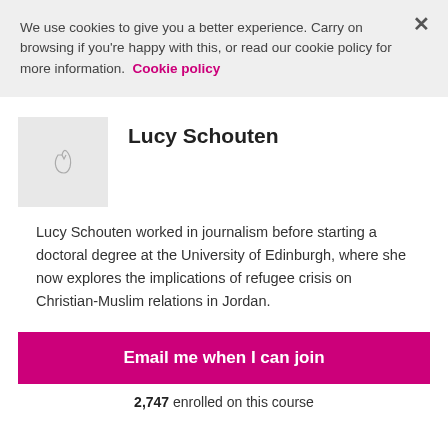We use cookies to give you a better experience. Carry on browsing if you're happy with this, or read our cookie policy for more information. Cookie policy
Lucy Schouten
Lucy Schouten worked in journalism before starting a doctoral degree at the University of Edinburgh, where she now explores the implications of refugee crisis on Christian-Muslim relations in Jordan.
Email me when I can join
2,747 enrolled on this course